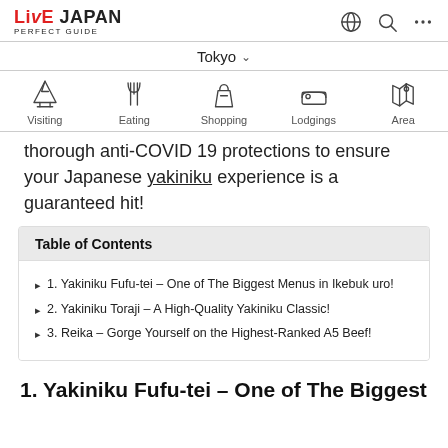LIVE JAPAN PERFECT GUIDE
Tokyo
[Figure (infographic): Category navigation icons: Visiting (mountain icon), Eating (fork/spoon icon), Shopping (shopping bag icon), Lodgings (bed icon), Area (map icon)]
thorough anti-COVID 19 protections to ensure your Japanese yakiniku experience is a guaranteed hit!
Table of Contents
1. Yakiniku Fufu-tei – One of The Biggest Menus in Ikebukuro!
2. Yakiniku Toraji – A High-Quality Yakiniku Classic!
3. Reika – Gorge Yourself on the Highest-Ranked A5 Beef!
1. Yakiniku Fufu-tei – One of The Biggest